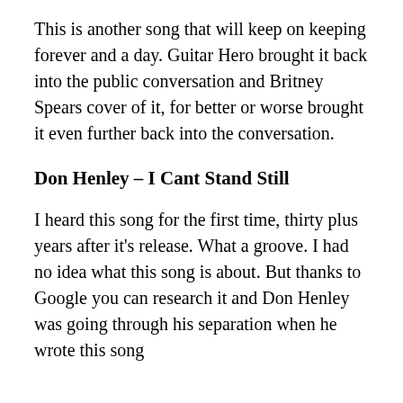This is another song that will keep on keeping forever and a day. Guitar Hero brought it back into the public conversation and Britney Spears cover of it, for better or worse brought it even further back into the conversation.
Don Henley – I Cant Stand Still
I heard this song for the first time, thirty plus years after it's release. What a groove. I had no idea what this song is about. But thanks to Google you can research it and Don Henley was going through his separation when he wrote this song